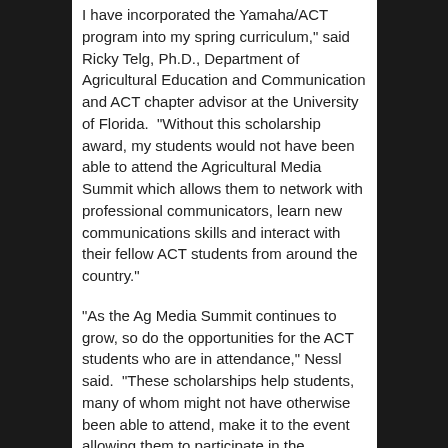I have incorporated the Yamaha/ACT program into my spring curriculum," said Ricky Telg, Ph.D., Department of Agricultural Education and Communication and ACT chapter advisor at the University of Florida.  "Without this scholarship award, my students would not have been able to attend the Agricultural Media Summit which allows them to network with professional communicators, learn new communications skills and interact with their fellow ACT students from around the country."
"As the Ag Media Summit continues to grow, so do the opportunities for the ACT students who are in attendance," Nessl said.  "These scholarships help students, many of whom might not have otherwise been able to attend, make it to the event allowing them to participate in the professional development sessions and networking while learning more about the industry as a whole."